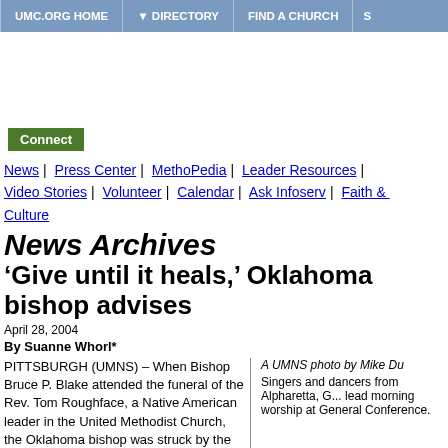UMC.ORG HOME | DIRECTORY | FIND A CHURCH
[Figure (other): White advertisement/banner space]
Connect
News | Press Center | MethoPedia | Leader Resources | Video Stories | Volunteer | Calendar | Ask Infoserv | Faith & Culture
News Archives
‘Give until it heals,’ Oklahoma bishop advises
April 28, 2004
By Suanne Whorl*
PITTSBURGH (UMNS) – When Bishop Bruce P. Blake attended the funeral of the Rev. Tom Roughface, a Native American leader in the United Methodist Church, the Oklahoma bishop was struck by the Ponca Tribe practice of giving gifts to friends and visitors.
A UMNS photo by Mike Du
Singers and dancers from Alpharetta, G... lead morning worship at General Conference.